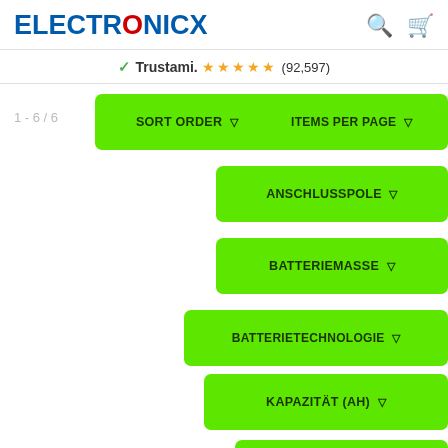ELECTRONICX
Trustami. ★★★★★ (92,597)
1 - 6 / 6
SORT ORDER ▽
ITEMS PER PAGE ▽
ANSCHLUSSPOLE ▽
BATTERIEMASSE ▽
BATTERIETECHNOLOGIE ▽
KAPAZITÄT (AH) ▽
PLUSPOL ▽